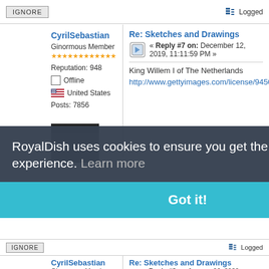IGNORE
Logged
CyrilSebastian
Re: Sketches and Drawings
Ginormous Member
« Reply #7 on: December 12, 2019, 11:11:59 PM »
Reputation: 948
Offline
United States
Posts: 7856
King Willem I of The Netherlands
http://www.gettyimages.com/license/9450
RoyalDish uses cookies to ensure you get the best experience. Learn more
Got it!
IGNORE
Logged
CyrilSebastian
Re: Sketches and Drawings
Ginormous Member
« Reply #8 on: January 06, 2020, 11:38:00